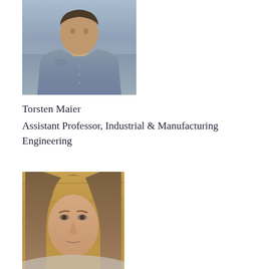[Figure (photo): Portrait photo of Torsten Maier, a man in a grey button-up shirt, from roughly chest up, with a blurred background]
Torsten Maier
Assistant Professor, Industrial & Manufacturing Engineering
[Figure (photo): Portrait photo of a woman with long brown hair, looking directly at camera, with wooden panel background, cropped to show face and top of shoulders]